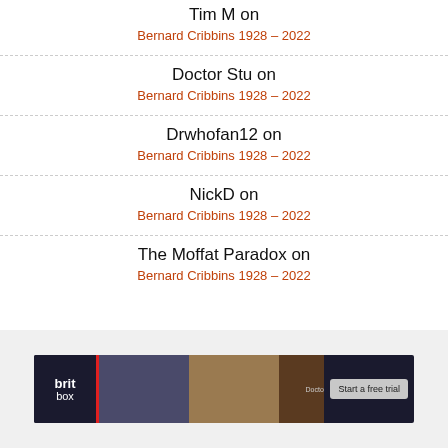Tim M on
Bernard Cribbins 1928 – 2022
Doctor Stu on
Bernard Cribbins 1928 – 2022
Drwhofan12 on
Bernard Cribbins 1928 – 2022
NickD on
Bernard Cribbins 1928 – 2022
The Moffat Paradox on
Bernard Cribbins 1928 – 2022
[Figure (other): BritBox advertisement banner with show images and 'Start a free trial' button]